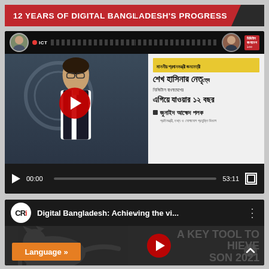12 YEARS OF DIGITAL BANGLADESH'S PROGRESS
[Figure (screenshot): YouTube-style video player showing a Bangladeshi ICT presenter with Bengali text overlay. Video duration 53:11, currently at 00:00.]
[Figure (screenshot): Second YouTube-style video thumbnail with CRI logo showing 'Digital Bangladesh: Achieving the vi...' with a shadow figure and 'A KEY TOOL TO ACHIEVE VISION 2021' text in background. Language button visible at bottom left.]